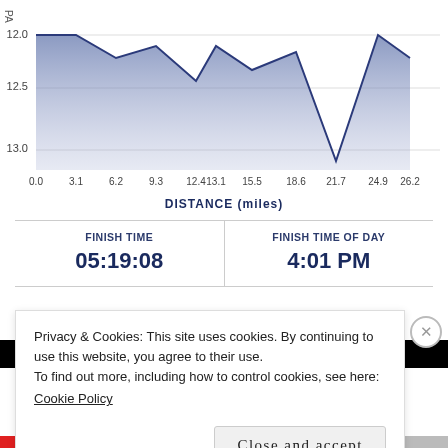[Figure (area-chart): Pace chart (partial)]
FINISH TIME: 05:19:08
FINISH TIME OF DAY: 4:01 PM
[Figure (other): Black navigation bar with white center line/dash]
Post Pace:
Privacy & Cookies: This site uses cookies. By continuing to use this website, you agree to their use.
To find out more, including how to control cookies, see here:
Cookie Policy
Close and accept